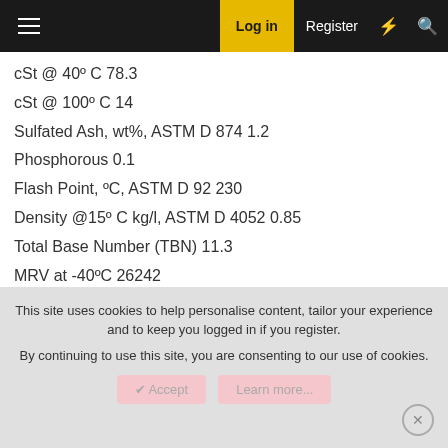Log in  Register
cSt @ 40º C 78.3
cSt @ 100º C 14
Sulfated Ash, wt%, ASTM D 874 1.2
Phosphorous 0.1
Flash Point, ºC, ASTM D 92 230
Density @15º C kg/l, ASTM D 4052 0.85
Total Base Number (TBN) 11.3
MRV at -40ºC 26242
Viscosity Index 186
HTHS Viscosity, mPa•s @ 150ºC, ASTM D 4683 3.7
Mobil1 10w30:
This site uses cookies to help personalise content, tailor your experience and to keep you logged in if you register.
By continuing to use this site, you are consenting to our use of cookies.